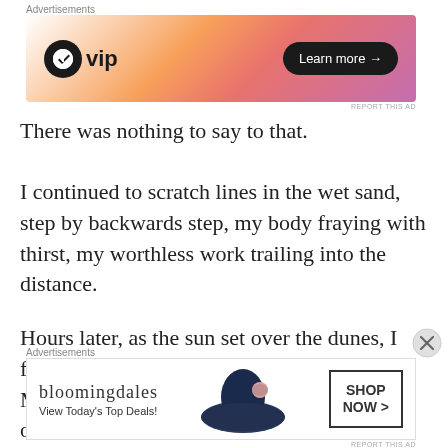[Figure (other): WordPress VIP advertisement banner with gradient orange-pink background, WP logo and 'vip' text, and 'Learn more →' button]
There was nothing to say to that.
I continued to scratch lines in the wet sand, step by backwards step, my body fraying with thirst, my worthless work trailing into the distance.
Hours later, as the sun set over the dunes, I fell to my knees. “I can’t go on,” I told them. My hoarse voice scarcely sounded like my own.
[Figure (other): Bloomingdale's advertisement banner with logo, 'View Today's Top Deals!' text, woman in hat photo, and 'SHOP NOW >' button]